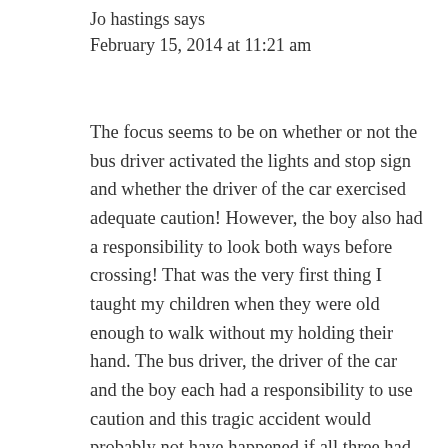Jo hastings says
February 15, 2014 at 11:21 am
The focus seems to be on whether or not the bus driver activated the lights and stop sign and whether the driver of the car exercised adequate caution! However, the boy also had a responsibility to look both ways before crossing! That was the very first thing I taught my children when they were old enough to walk without my holding their hand. The bus driver, the driver of the car and the boy each had a responsibility to use caution and this tragic accident would probably not have happened if all three had all...